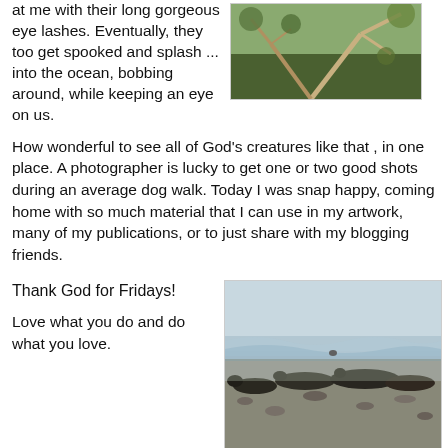at me with their long gorgeous eye lashes. Eventually, they too get spooked and splash ... into the ocean, bobbing around, while keeping an eye on us.
[Figure (photo): Photo of branches and foliage, dark tones with green and brown colors]
How wonderful to see all of God's creatures like that , in one place. A photographer is lucky to get one or two good shots during an average dog walk. Today I was snap happy, coming home with so much material that I can use in my artwork, many of my publications, or to just share with my blogging friends.
Thank God for Fridays!
Love what you do and do what you love.
[Figure (photo): Photo of seals or sea lions resting on a rocky/pebbly beach, with ocean waves in the background]
I certainly do!